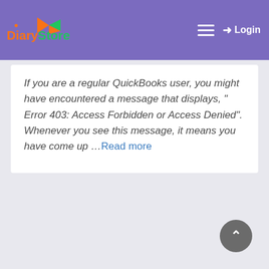Diary Store — Login
If you are a regular QuickBooks user, you might have encountered a message that displays, " Error 403: Access Forbidden or Access Denied". Whenever you see this message, it means you have come up …Read more